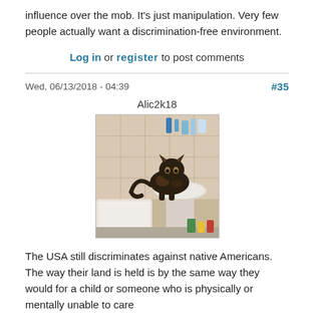influence over the mob. It's just manipulation. Very few people actually want a discrimination-free environment.
Log in or register to post comments
Wed, 06/13/2018 - 04:39
#35
Alic2k18
[Figure (photo): A cat perched on the edge of a bathroom sink, with a bathtub visible in the background and bathroom shelves with items behind.]
The USA still discriminates against native Americans. The way their land is held is by the same way they would for a child or someone who is physically or mentally unable to care